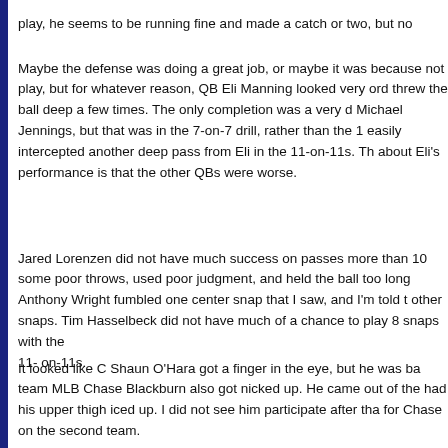play, he seems to be running fine and made a catch or two, but no
Maybe the defense was doing a great job, or maybe it was because not play, but for whatever reason, QB Eli Manning looked very ord threw the ball deep a few times. The only completion was a very d Michael Jennings, but that was in the 7-on-7 drill, rather than the 1 easily intercepted another deep pass from Eli in the 11-on-11s. Th about Eli's performance is that the other QBs were worse.
Jared Lorenzen did not have much success on passes more than 10 some poor throws, used poor judgment, and held the ball too long Anthony Wright fumbled one center snap that I saw, and I'm told t other snaps. Tim Hasselbeck did not have much of a chance to play 8 snaps with the
11- on-11s.
It looked like C Shaun O'Hara got a finger in the eye, but he was ba team MLB Chase Blackburn also got nicked up. He came out of the had his upper thigh iced up. I did not see him participate after tha for Chase on the second team.